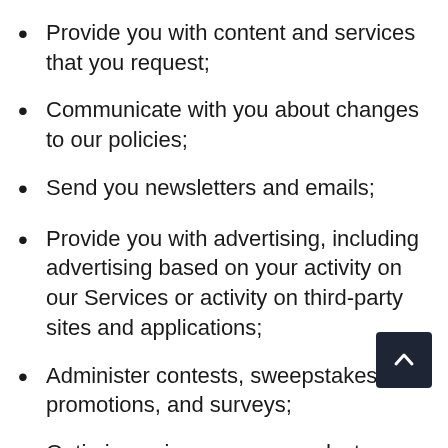Provide you with content and services that you request;
Communicate with you about changes to our policies;
Send you newsletters and emails;
Provide you with advertising, including advertising based on your activity on our Services or activity on third-party sites and applications;
Administer contests, sweepstakes, promotions, and surveys;
Optimize or improve our products,